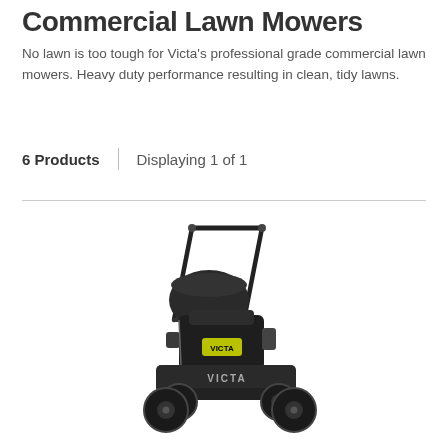Commercial Lawn Mowers
No lawn is too tough for Victa's professional grade commercial lawn mowers. Heavy duty performance resulting in clean, tidy lawns.
6 Products  |  Displaying 1 of 1
[Figure (photo): A black Victa commercial push lawn mower photographed on a white background, showing the handle, engine, grass catcher bag, and four wheels.]